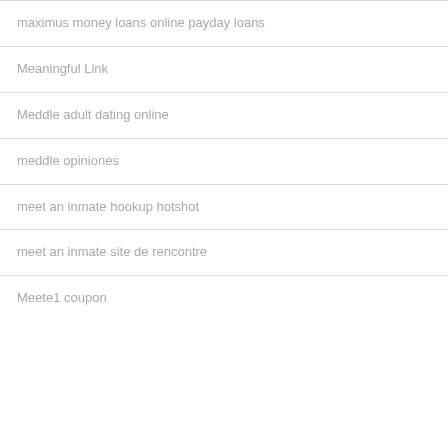maximus money loans online payday loans
Meaningful Link
Meddle adult dating online
meddle opiniones
meet an inmate hookup hotshot
meet an inmate site de rencontre
Meete1 coupon